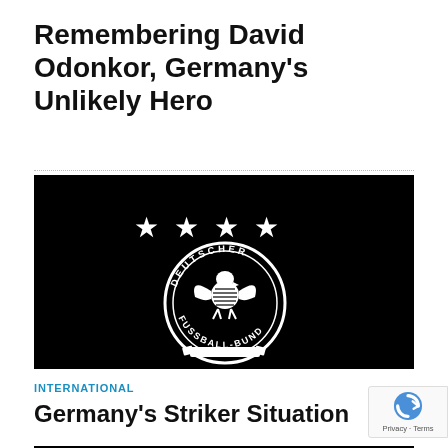Remembering David Odonkor, Germany's Unlikely Hero
[Figure (photo): Black background with the German Football Association (Deutscher Fussball-Bund) crest in white: four stars above a circular badge containing an eagle and the text 'DEUTSCHER FUSSBALL-BUND']
INTERNATIONAL
Germany's Striker Situation
[Figure (photo): Black background partially visible at bottom of page with white stars, appearing to be another instance of the DFB crest]